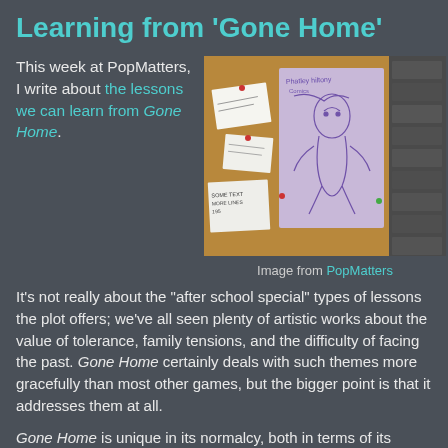Learning from 'Gone Home'
This week at PopMatters, I write about the lessons we can learn from Gone Home.
[Figure (photo): Screenshot from the game Gone Home showing a corkboard with pinned notes and papers, and a hand-drawn poster on purple/lavender paper, alongside a brick wall section on the right.]
Image from PopMatters
It's not really about the "after school special" types of lessons the plot offers; we've all seen plenty of artistic works about the value of tolerance, family tensions, and the difficulty of facing the past. Gone Home certainly deals with such themes more gracefully than most other games, but the bigger point is that it addresses them at all.
Gone Home is unique in its normalcy, both in terms of its characters and the actions you take as a player. There are things to learn from this normalcy: the "put back" mechanic is